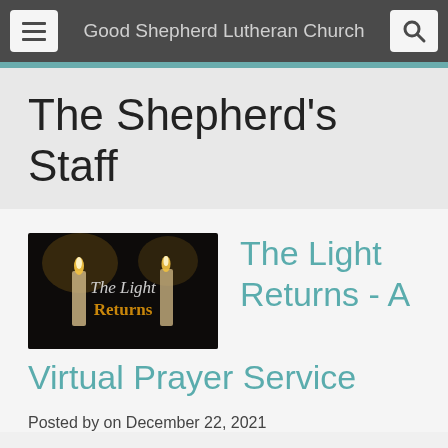Good Shepherd Lutheran Church
The Shepherd's Staff
[Figure (photo): Dark image of two candles with text 'The Light Returns' in script and gold lettering on a dark background]
The Light Returns - A Virtual Prayer Service
Posted by on December 22, 2021